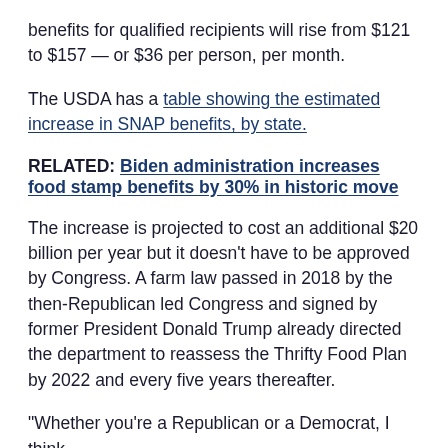benefits for qualified recipients will rise from $121 to $157 — or $36 per person, per month.
The USDA has a table showing the estimated increase in SNAP benefits, by state.
RELATED: Biden administration increases food stamp benefits by 30% in historic move
The increase is projected to cost an additional $20 billion per year but it doesn't have to be approved by Congress. A farm law passed in 2018 by the then-Republican led Congress and signed by former President Donald Trump already directed the department to reassess the Thrifty Food Plan by 2022 and every five years thereafter.
"Whether you're a Republican or a Democrat, I think